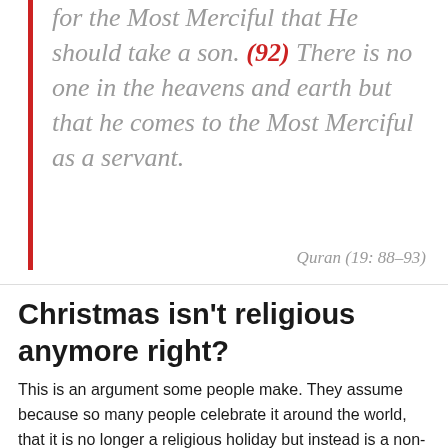for the Most Merciful that He should take a son. (92) There is no one in the heavens and earth but that he comes to the Most Merciful as a servant.
Quran (19: 88–93)
Christmas isn't religious anymore right?
This is an argument some people make. They assume because so many people celebrate it around the world, that it is no longer a religious holiday but instead is a non-religious holiday. The reality is it is